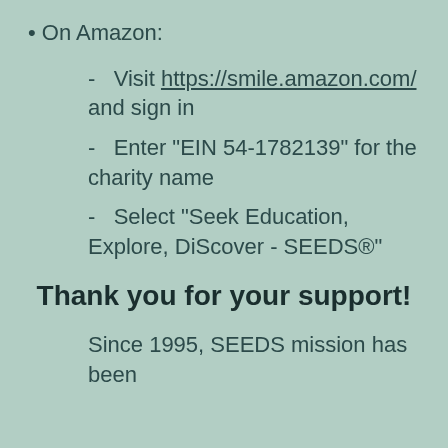On Amazon:
- Visit https://smile.amazon.com/ and sign in
- Enter "EIN 54-1782139" for the charity name
- Select "Seek Education, Explore, DiScover - SEEDS®"
Thank you for your support!
Since 1995, SEEDS mission has been